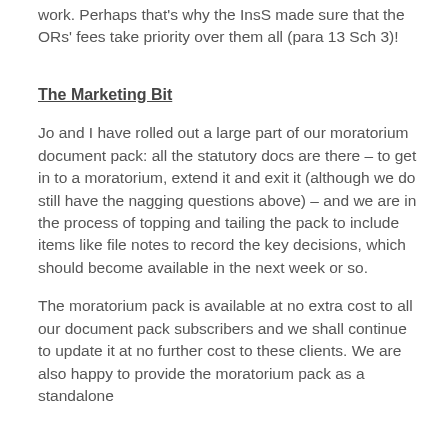work.  Perhaps that's why the InsS made sure that the ORs' fees take priority over them all (para 13 Sch 3)!
The Marketing Bit
Jo and I have rolled out a large part of our moratorium document pack: all the statutory docs are there – to get in to a moratorium, extend it and exit it (although we do still have the nagging questions above) – and we are in the process of topping and tailing the pack to include items like file notes to record the key decisions, which should become available in the next week or so.
The moratorium pack is available at no extra cost to all our document pack subscribers and we shall continue to update it at no further cost to these clients.  We are also happy to provide the moratorium pack as a standalone